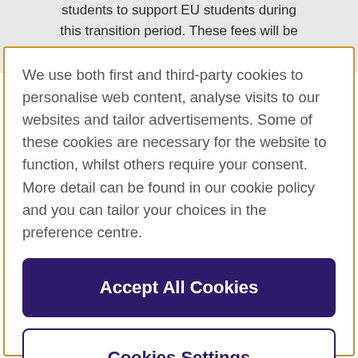students to support EU students during this transition period. These fees will be applied for the duration of the course.
We use both first and third-party cookies to personalise web content, analyse visits to our websites and tailor advertisements. Some of these cookies are necessary for the website to function, whilst others require your consent. More detail can be found in our cookie policy and you can tailor your choices in the preference centre.
Accept All Cookies
Cookies Settings